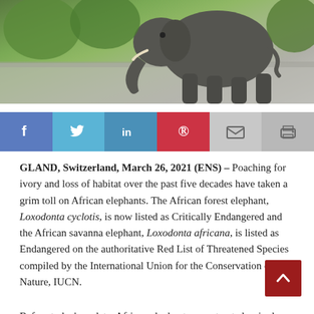[Figure (photo): Elephant walking on a road with green vegetation in the background]
[Figure (infographic): Social sharing bar with Facebook, Twitter, LinkedIn, Pinterest, Email, and Print buttons]
GLAND, Switzerland, March 26, 2021 (ENS) – Poaching for ivory and loss of habitat over the past five decades have taken a grim toll on African elephants. The African forest elephant, Loxodonta cyclotis, is now listed as Critically Endangered and the African savanna elephant, Loxodonta africana, is listed as Endangered on the authoritative Red List of Threatened Species compiled by the International Union for the Conservation of Nature, IUCN.
Before today's update, African elephants were treated as a single species, listed as Vulnerable to extinction. This is the first